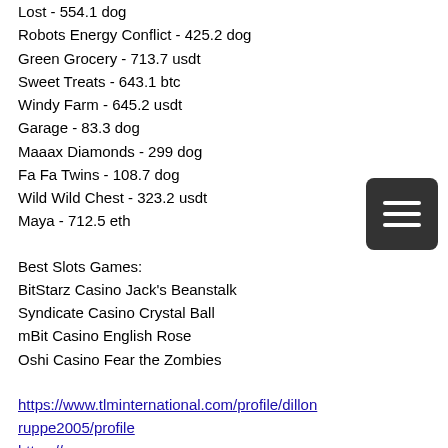Lost - 554.1 dog
Robots Energy Conflict - 425.2 dog
Green Grocery - 713.7 usdt
Sweet Treats - 643.1 btc
Windy Farm - 645.2 usdt
Garage - 83.3 dog
Maaax Diamonds - 299 dog
Fa Fa Twins - 108.7 dog
Wild Wild Chest - 323.2 usdt
Maya - 712.5 eth
Best Slots Games:
BitStarz Casino Jack's Beanstalk
Syndicate Casino Crystal Ball
mBit Casino English Rose
Oshi Casino Fear the Zombies
https://www.tlminternational.com/profile/dillonruppe2005/profile
https://www.evanesco-homeorganiser.ch/profile/meridithforshee198